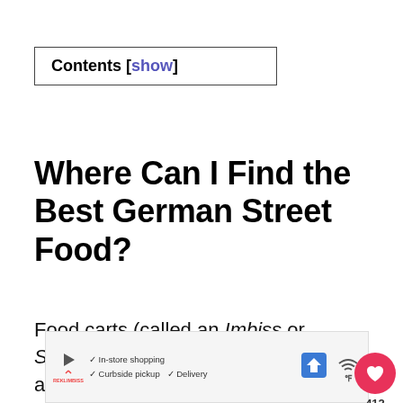Contents [show]
Where Can I Find the Best German Street Food?
Food carts (called an Imbiss or Schnellimbiss) abound in Germany and are great places to pick up a tasty lunch or snack.
[Figure (screenshot): Ad banner at bottom with play button, store info (In-store shopping, Curbside pickup, Delivery), navigation arrow icon, and Wi-Fi icon]